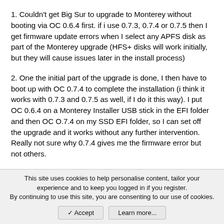1. Couldn't get Big Sur to upgrade to Monterey without booting via OC 0.6.4 first. if i use 0.7.3, 0.7.4 or 0.7.5 then I get firmware update errors when I select any APFS disk as part of the Monterey upgrade (HFS+ disks will work initially, but they will cause issues later in the install process)
2. One the initial part of the upgrade is done, I then have to boot up with OC 0.7.4 to complete the installation (i think it works with 0.7.3 and 0.7.5 as well, if I do it this way). I put OC 0.6.4 on a Monterey Installer USB stick in the EFI folder and then OC O.7.4 on my SSD EFI folder, so I can set off the upgrade and it works without any further intervention. Really not sure why 0.7.4 gives me the firmware error but not others.
3. Post Monterey installation my Nvidia GT710 is not properly
This site uses cookies to help personalise content, tailor your experience and to keep you logged in if you register.
By continuing to use this site, you are consenting to our use of cookies.